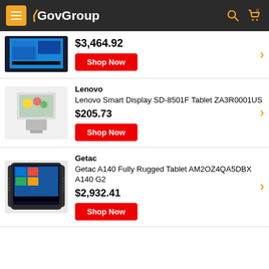GovGroup
$3,464.92
Shop Now
Lenovo
Lenovo Smart Display SD-8501F Tablet ZA3R0001US
$205.73
Shop Now
Getac
Getac A140 Fully Rugged Tablet AM2OZ4QA5DBX A140 G2
$2,932.41
Shop Now